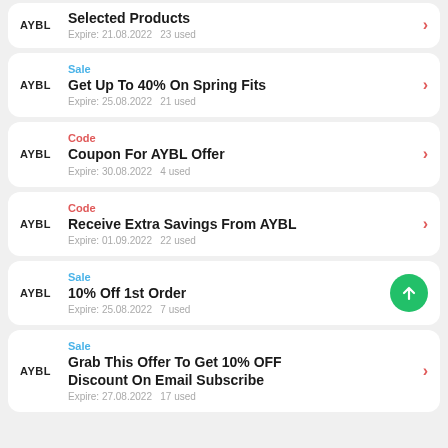Selected Products | Expire: 21.08.2022  23 used
Sale | Get Up To 40% On Spring Fits | Expire: 25.08.2022  21 used
Code | Coupon For AYBL Offer | Expire: 30.08.2022  4 used
Code | Receive Extra Savings From AYBL | Expire: 01.09.2022  22 used
Sale | 10% Off 1st Order | Expire: 25.08.2022  7 used
Sale | Grab This Offer To Get 10% OFF Discount On Email Subscribe | Expire: 27.08.2022  17 used